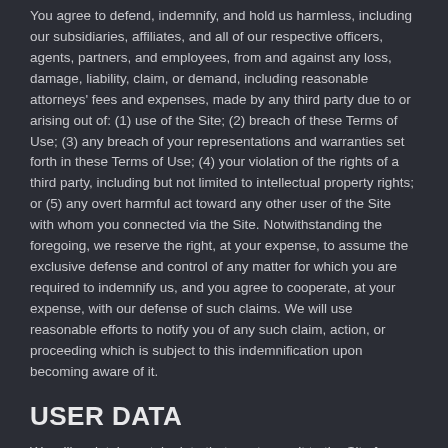You agree to defend, indemnify, and hold us harmless, including our subsidiaries, affiliates, and all of our respective officers, agents, partners, and employees, from and against any loss, damage, liability, claim, or demand, including reasonable attorneys' fees and expenses, made by any third party due to or arising out of: (1) use of the Site; (2) breach of these Terms of Use; (3) any breach of your representations and warranties set forth in these Terms of Use; (4) your violation of the rights of a third party, including but not limited to intellectual property rights; or (5) any overt harmful act toward any other user of the Site with whom you connected via the Site. Notwithstanding the foregoing, we reserve the right, at your expense, to assume the exclusive defense and control of any matter for which you are required to indemnify us, and you agree to cooperate, at your expense, with our defense of such claims. We will use reasonable efforts to notify you of any such claim, action, or proceeding which is subject to this indemnification upon becoming aware of it.
USER DATA
We will maintain certain data that you transmit to the Site for